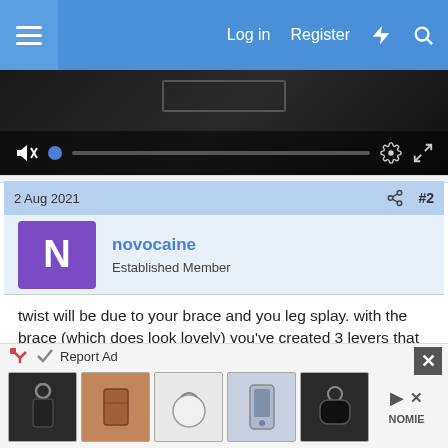Log in  Register
[Figure (screenshot): Video player with dark background, muted icon, blue progress dot, gear settings icon, and fullscreen icon]
2 Aug 2021  #2
novocaine
Established Member
twist will be due to your brace and you leg splay. with the brace (which does look lovely) you've created 3 levers that all act as you twist your weight to distort the triangle.
interesting design, add another brace between the legs (or you might get away with a second one similar to what you've done, but the other way round) and I think
[Figure (screenshot): Advertisement bar showing Report Ad text and product images of accessories including keychains, wallet, round bag, phone case, and earbuds case]